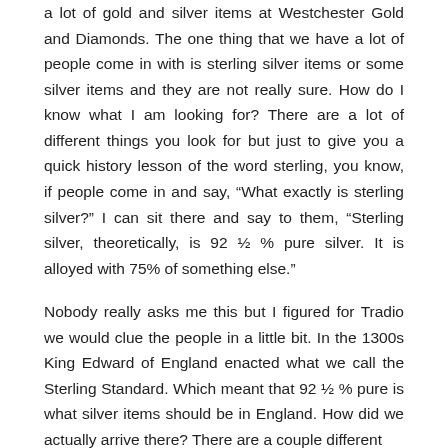a lot of gold and silver items at Westchester Gold and Diamonds. The one thing that we have a lot of people come in with is sterling silver items or some silver items and they are not really sure. How do I know what I am looking for? There are a lot of different things you look for but just to give you a quick history lesson of the word sterling, you know, if people come in and say, “What exactly is sterling silver?” I can sit there and say to them, “Sterling silver, theoretically, is 92 ½ % pure silver. It is alloyed with 75% of something else.”
Nobody really asks me this but I figured for Tradio we would clue the people in a little bit. In the 1300s King Edward of England enacted what we call the Sterling Standard. Which meant that 92 ½ % pure is what silver items should be in England. How did we actually arrive there? There are a couple different